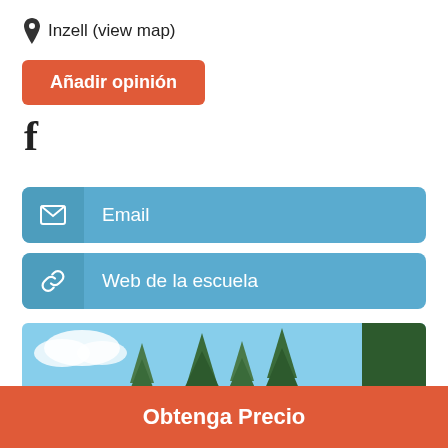Inzell (view map)
Añadir opinión
[Figure (illustration): Facebook 'f' logo icon in black]
Email
Web de la escuela
[Figure (photo): Outdoor photo showing pine trees against a blue sky with white clouds]
Obtenga Precio